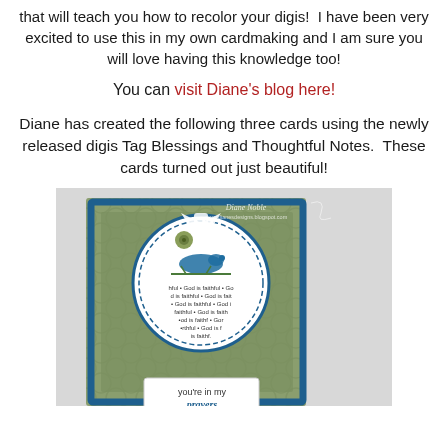that will teach you how to recolor your digis!  I have been very excited to use this in my own cardmaking and I am sure you will love having this knowledge too!
You can visit Diane's blog here!
Diane has created the following three cards using the newly released digis Tag Blessings and Thoughtful Notes.  These cards turned out just beautiful!
[Figure (photo): A handmade greeting card featuring blue and green patterned paper, a decorative doily-style circle with a bird and 'God is faithful' text repeated, a white ribbon bow with a green rose, and a tag reading 'you're in my prayers'. Watermark reads 'Diane Noble www.dianesdesigns.blogspot.com'.]